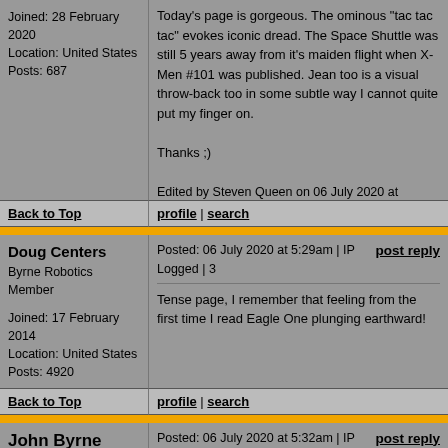Joined: 28 February 2020
Location: United States
Posts: 687
Today's page is gorgeous. The ominous "tac tac tac" evokes iconic dread. The Space Shuttle was still 5 years away from it's maiden flight when X-Men #101 was published. Jean too is a visual throw-back too in some subtle way I cannot quite put my finger on.

Thanks ;)

Edited by Steven Queen on 06 July 2020 at 5:05am
Back to Top
profile | search
Doug Centers
Byrne Robotics Member

Joined: 17 February 2014
Location: United States
Posts: 4920
Posted: 06 July 2020 at 5:29am | IP Logged | 3

Tense page, I remember that feeling from the first time I read Eagle One plunging earthward!
Back to Top
profile | search
John Byrne
Imaginary X-Man
Posted: 06 July 2020 at 5:32am | IP Logged | 4

Jean too is a visual throw-back too in some